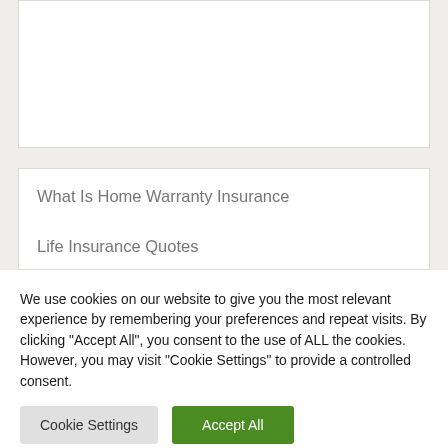[Figure (screenshot): Partial screenshot of an insurance website showing two card/link items: 'What Is Home Warranty Insurance' and 'Life Insurance Quotes' on a light beige background]
What Is Home Warranty Insurance
Life Insurance Quotes
We use cookies on our website to give you the most relevant experience by remembering your preferences and repeat visits. By clicking "Accept All", you consent to the use of ALL the cookies. However, you may visit "Cookie Settings" to provide a controlled consent.
Cookie Settings
Accept All